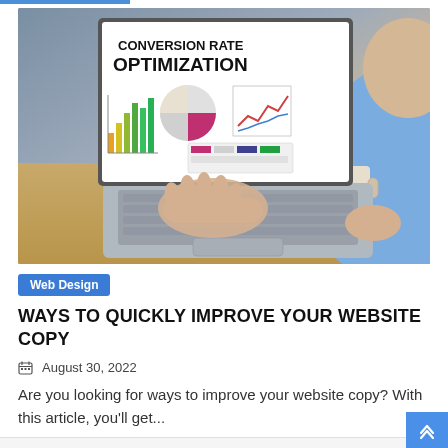[Figure (photo): Person using a laptop that displays 'CONVERSION RATE OPTIMIZATION' with bar chart, pie chart, and line graph icons on screen. Person's hands on keyboard, coffee mug visible on wooden desk.]
Web Design
WAYS TO QUICKLY IMPROVE YOUR WEBSITE COPY
August 30, 2022
Are you looking for ways to improve your website copy? With this article, you'll get...